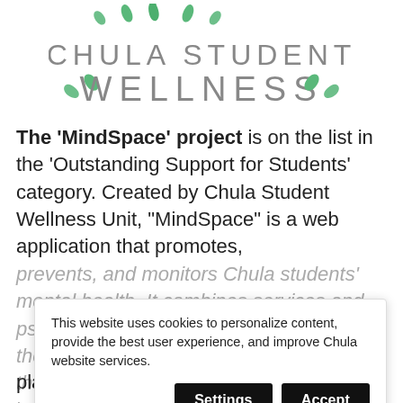[Figure (logo): Chula Student Wellness logo with green leaf decorations and grey text]
The 'MindSpace' project is on the list in the 'Outstanding Support for Students' category. Created by Chula Student Wellness Unit, "MindSpace" is a web application that promotes, prevents, and monitors Chula students' mental health. It combines services and psychological knowledge, encouraging the students to first take care of themselves, and if needed, to book a consultation with a psychologist via an online platform. This has become mighty helpful to
This website uses cookies to personalize content, provide the best user experience, and improve Chula website services.